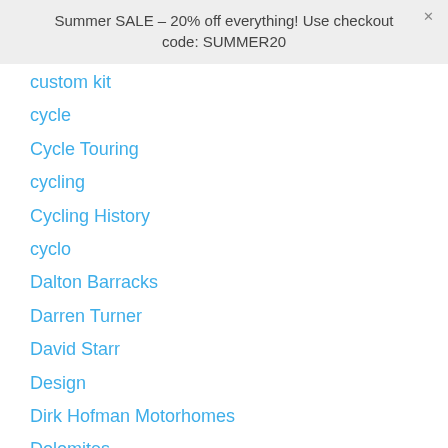Summer SALE - 20% off everything! Use checkout code: SUMMER20
custom kit
cycle
Cycle Touring
cycling
Cycling History
cyclo
Dalton Barracks
Darren Turner
David Starr
Design
Dirk Hofman Motorhomes
Dolomites
Easter